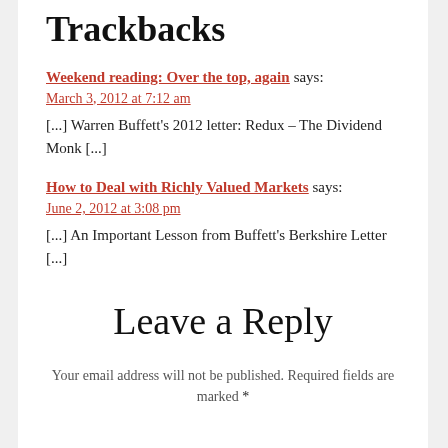Trackbacks
Weekend reading: Over the top, again says:
March 3, 2012 at 7:12 am
[...] Warren Buffett's 2012 letter: Redux – The Dividend Monk [...]
How to Deal with Richly Valued Markets says:
June 2, 2012 at 3:08 pm
[...] An Important Lesson from Buffett's Berkshire Letter [...]
Leave a Reply
Your email address will not be published. Required fields are marked *